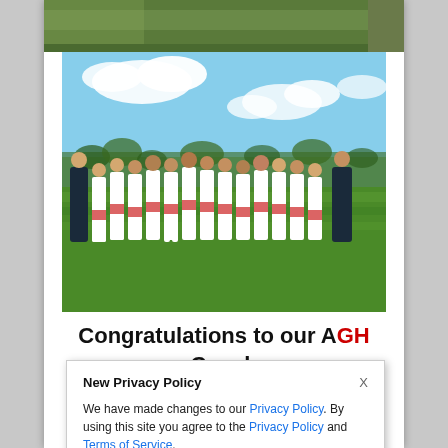[Figure (photo): Group photo of a women's field hockey team wearing white uniforms with red trim, posing on a green grass field with blue sky and clouds in the background. Two coaches in dark clothing stand at the ends.]
Congratulations to our AGH Coach [partially visible] ...am Am
New Privacy Policy

We have made changes to our Privacy Policy. By using this site you agree to the Privacy Policy and Terms of Service.